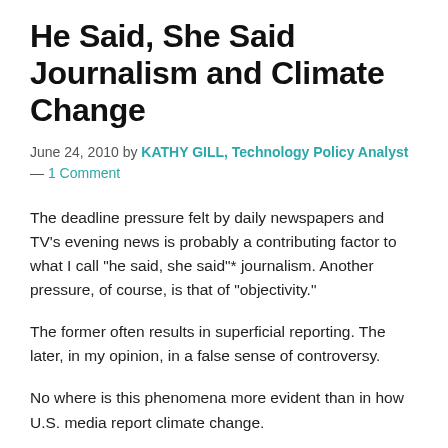He Said, She Said Journalism and Climate Change
June 24, 2010 by KATHY GILL, Technology Policy Analyst — 1 Comment
The deadline pressure felt by daily newspapers and TV's evening news is probably a contributing factor to what I call "he said, she said"* journalism. Another pressure, of course, is that of "objectivity."
The former often results in superficial reporting. The later, in my opinion, in a false sense of controversy.
No where is this phenomena more evident than in how U.S. media report climate change.